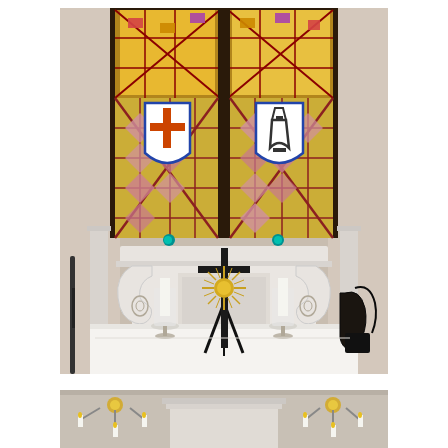[Figure (photo): Interior of a church showing a white ornate pulpit with carved scrollwork brackets, a tall stained glass window behind it featuring two shields (one with a cross, one with a chalice) set in a colorful geometric pattern. In the foreground is an altar table with a white cloth, two tall glass candle holders with white candles, and a dark metal cross on a tripod stand with a golden sunburst medallion at its center.]
[Figure (photo): Partial interior view of a church showing the top of a white pulpit structure, a chandelier with candle-style lights on either side, and white walls.]